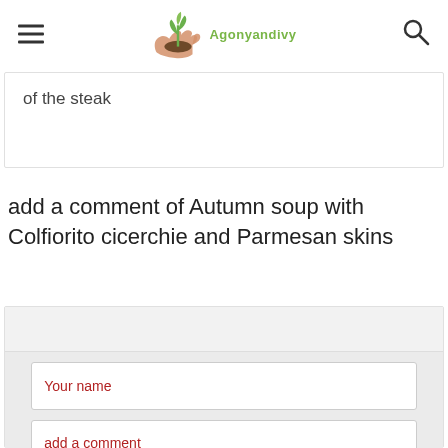Agonyandivy
of the steak
add a comment of Autumn soup with Colfiorito cicerchie and Parmesan skins
Your name
add a comment